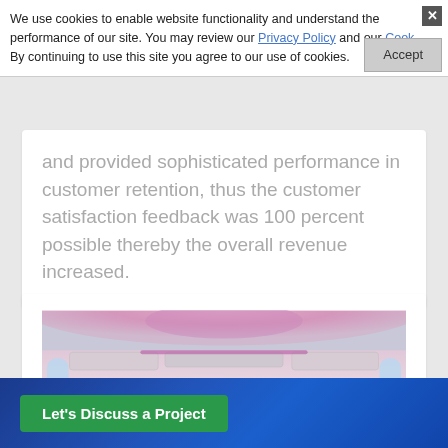We use cookies to enable website functionality and understand the performance of our site. You may review our Privacy Policy and our Cookie [Policy]. By continuing to use this site you agree to our use of cookies.
and provided sophisticated performance in customer retention, thus the customer satisfaction feedback was 100 percent possible thereby the overall revenue increased.
[Figure (photo): Interior of an airplane cabin with red seat headrests and purple/pink ambient lighting on the ceiling. Multiple rows of seats visible with entertainment screens on seat backs.]
Let's Discuss a Project